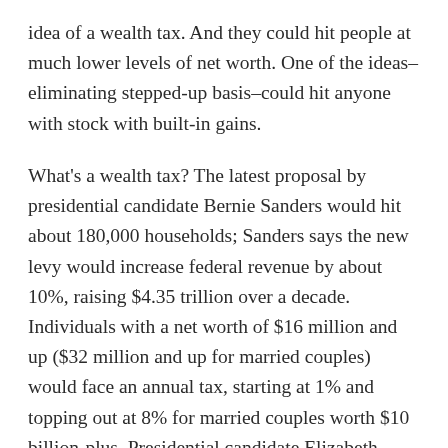idea of a wealth tax. And they could hit people at much lower levels of net worth. One of the ideas–eliminating stepped-up basis–could hit anyone with stock with built-in gains.
What's a wealth tax? The latest proposal by presidential candidate Bernie Sanders would hit about 180,000 households; Sanders says the new levy would increase federal revenue by about 10%, raising $4.35 trillion over a decade. Individuals with a net worth of $16 million and up ($32 million and up for married couples) would face an annual tax, starting at 1% and topping out at 8% for married couples worth $10 billion-plus. Presidential candidate Elizabeth Warren has a similar, slightly less ambitious, wealth tax plan. But any new wealth tax would most certainly face constitutional challenge, and it probably wouldn't raise the amount of revenue its